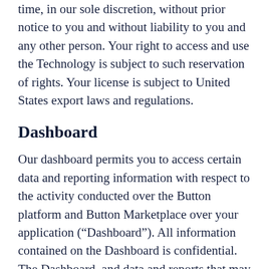time, in our sole discretion, without prior notice to you and without liability to you and any other person. Your right to access and use the Technology is subject to such reservation of rights. Your license is subject to United States export laws and regulations.
Dashboard
Our dashboard permits you to access certain data and reporting information with respect to the activity conducted over the Button platform and Button Marketplace over your application (“Dashboard”). All information contained on the Dashboard is confidential. The Dashboard, and data and reports that may be generated with the Dashboard, may be used only for your internal analysis. The data provided in the Dashboard and any reports that you may